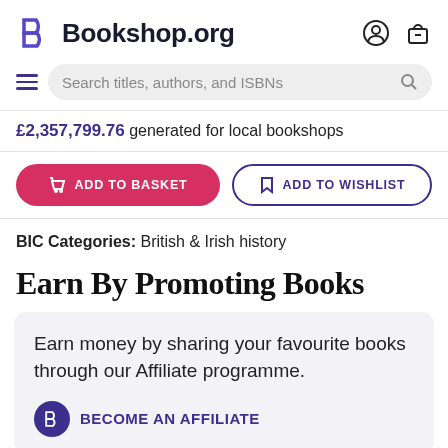Bookshop.org
Search titles, authors, and ISBNs
£2,357,799.76 generated for local bookshops
ADD TO BASKET
ADD TO WISHLIST
BIC Categories: British & Irish history
Earn By Promoting Books
Earn money by sharing your favourite books through our Affiliate programme.
BECOME AN AFFILIATE